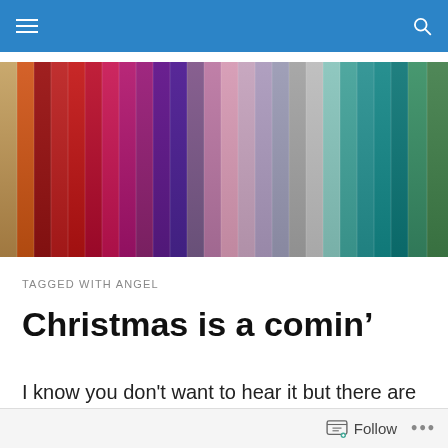Navigation bar with hamburger menu and search icon
[Figure (photo): Colorful painted wooden planks arranged side by side showing a rainbow spectrum of colors from orange/tan on the left through red, pink, magenta, purple, lavender, grey, teal, and green on the right]
TAGGED WITH ANGEL
Christmas is a comin’
I know you don’t want to hear it but there are just six weeks to go until Christmas. I too have been in denial but
Follow ...